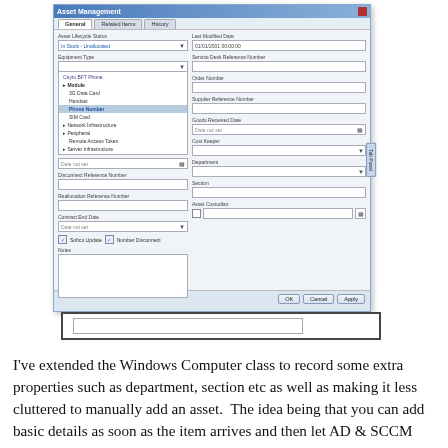[Figure (screenshot): Windows dialog box showing Asset Management form with General, Related Items, and History tabs. Fields include Asset Lifecycle Status (In Stock - Unallocated), Equipment Type with dropdown showing Mobile options (Cayto BFT Phone, Module, 3G Data Card, Handset, Phone Number highlighted, SIM Card, Network Infrastructure, Peripheral, Remote Access Token, Server Infrastructure), plus fields for Last Modified Date, Service Desk Reference Number, Order Number, Supplier Reference Number, Goods Received Date, Cost Keeper, Department, Section, Asset Custodian, Disconnect Reference Number, Reallocation Reference Number, Contract End Date, checkboxes for Softco Update and Number Disconnect, Notes area, and OK/Cancel/Apply buttons.]
I've extended the Windows Computer class to record some extra properties such as department, section etc as well as making it less cluttered to manually add an asset.  The idea being that you can add basic details as soon as the item arrives and then let AD & SCCM connectors add more